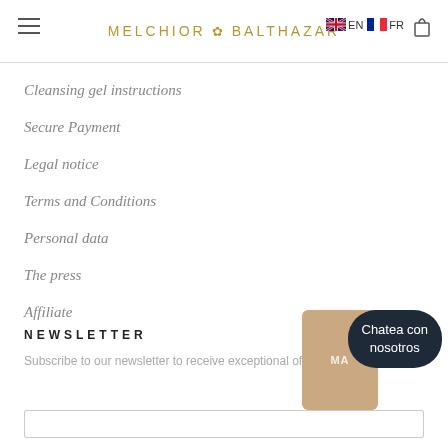MELCHIOR ✿ BALTHAZAR — EN FR
Cleansing gel instructions
Secure Payment
Legal notice
Terms and Conditions
Personal data
The press
Affiliate
NEWSLETTER
Subscribe to our newsletter to receive exceptional offers.
[Figure (screenshot): Chat overlay with tan box showing 'MA' and dark pill-shaped button with text 'Chatea con nosotros']